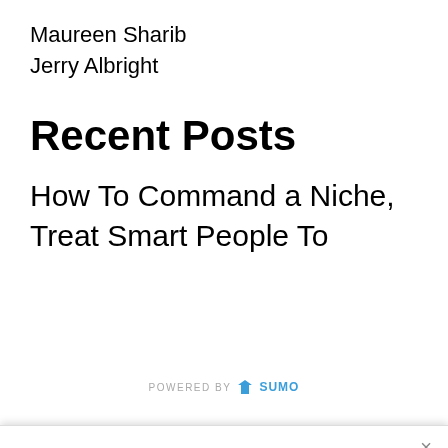Maureen Sharib
Jerry Albright
Recent Posts
How To Command a Niche, Treat Smart People To Lunch, Swearing Is Good For You, Job Search Optimism
[Figure (screenshot): POWERED BY SUMO branding bar with crown icon]
Join Our Newsletter
Signup today for free and be the first to get notified on new updates.
Enter your Email
Subscribe Now